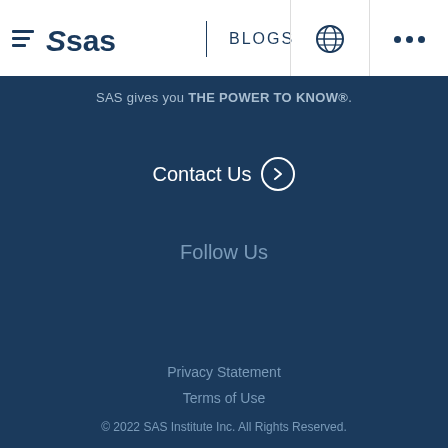SAS BLOGS
SAS gives you THE POWER TO KNOW®.
Contact Us
Follow Us
Privacy Statement
Terms of Use
© 2022 SAS Institute Inc. All Rights Reserved.